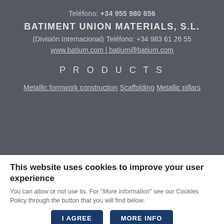Teléfono: +34 955 980 656
BATIMENT UNION MATERIALS, S.L.
(División Internacional)
Teléfono: +34 983 61 26 55
www.batium.com | batium@batium.com
PRODUCTS
Metallic formwork construction
Scaffolding
Metallic pillars
This website uses cookies to improve your user experience
You can allow or not use its. For "More information" see our Cookies Policy through the button that you will find below.
I AGREE
MORE INFO